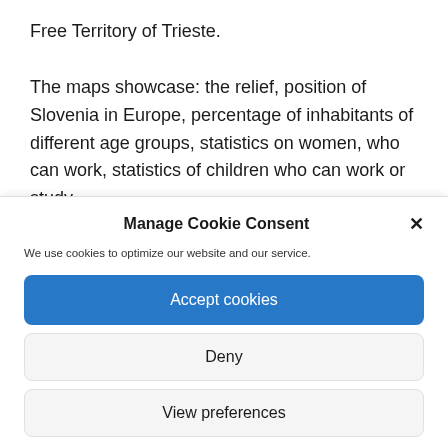Free Territory of Trieste. The maps showcase: the relief, position of Slovenia in Europe, percentage of inhabitants of different age groups, statistics on women, who can work, statistics of children who can work or study,
Manage Cookie Consent
We use cookies to optimize our website and our service.
Accept cookies
Deny
View preferences